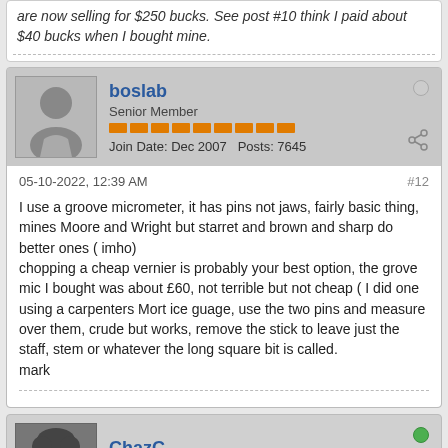are now selling for $250 bucks. See post #10 think I paid about $40 bucks when I bought mine.
boslab
Senior Member
Join Date: Dec 2007   Posts: 7645
05-10-2022, 12:39 AM
#12
I use a groove micrometer, it has pins not jaws, fairly basic thing, mines Moore and Wright but starret and brown and sharp do better ones ( imho)
chopping a cheap vernier is probably your best option, the grove mic I bought was about £60, not terrible but not cheap ( I did one using a carpenters Mort ice guage, use the two pins and measure over them, crude but works, remove the stick to leave just the staff, stem or whatever the long square bit is called.
mark
ChazC
Senior Member